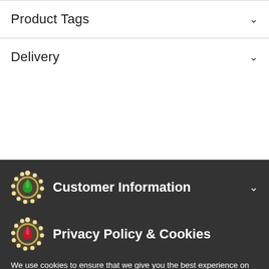Product Tags
Delivery
Customer Information
Privacy Policy & Cookies
We use cookies to ensure that we give you the best experience on our website. If you continue without changing your settings, we'll